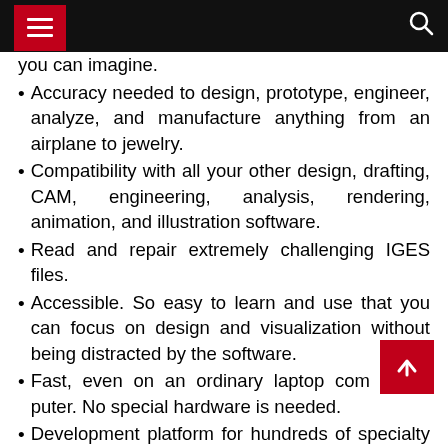Navigation header with menu and search icons
you can imagine.
Accuracy needed to design, prototype, engineer, analyze, and manufacture anything from an airplane to jewelry.
Compatibility with all your other design, drafting, CAM, engineering, analysis, rendering, animation, and illustration software.
Read and repair extremely challenging IGES files.
Accessible. So easy to learn and use that you can focus on design and visualization without being distracted by the software.
Fast, even on an ordinary laptop computer. No special hardware is needed.
Development platform for hundreds of specialty 3D